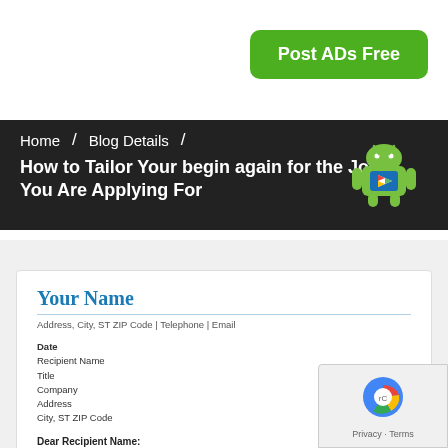[Figure (other): Green rounded-rectangle button with white text 'Post ADs Free']
Home / Blog Details / How to Tailor Your begin again for the Job You Are Applying For
[Figure (illustration): Android mascot robot icon with Google Play logo on chest]
[Figure (other): Resume template preview showing 'Your Name', address/contact line, Date, Recipient Name, Title, Company, Address, City ST ZIP Code, Dear Recipient Name:]
[Figure (other): Google reCAPTCHA widget overlay with Privacy and Terms links]